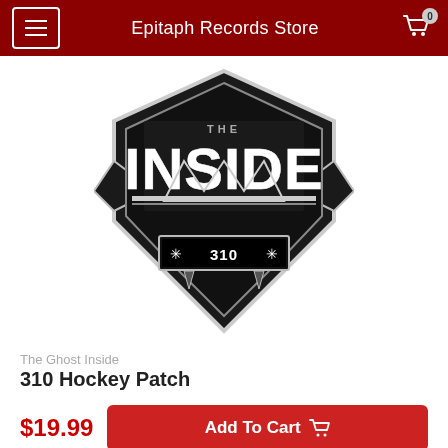Epitaph Records Store
[Figure (photo): The Ghost Inside 310 Hockey Patch product image — a black and white shield-shaped embroidered patch with 'INSIDE' text and '310' in a banner at the bottom with star decorations]
The Ghost Inside
310 Hockey Patch
$19.99
Add To Cart